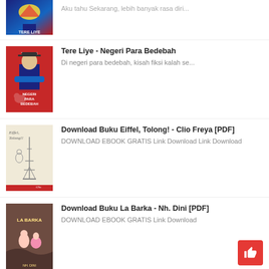[Figure (screenshot): Partial book list item at top - book cover partially visible, text truncated: 'Aku tahu Sekarang, lebih banyak rasa diri...']
Tere Liye - Negeri Para Bedebah
Di negeri para bedebah, kisah fiksi kalah se...
Download Buku Eiffel, Tolong! - Clio Freya [PDF]
DOWNLOAD EBOOK GRATIS Link Download Link Download
Download Buku La Barka - Nh. Dini [PDF]
DOWNLOAD EBOOK GRATIS Link Download
Download EBook Robohnya Surau Kami - A.A. Navis